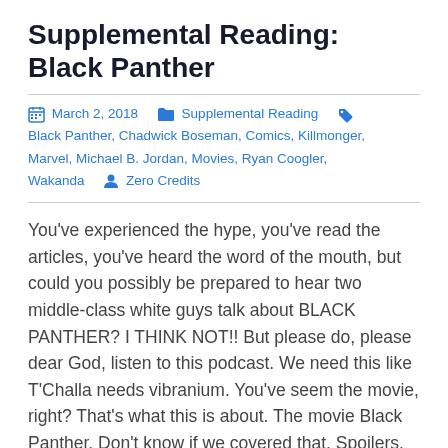Supplemental Reading: Black Panther
March 2, 2018  Supplemental Reading  Black Panther, Chadwick Boseman, Comics, Killmonger, Marvel, Michael B. Jordan, Movies, Ryan Coogler, Wakanda  Zero Credits
You've experienced the hype, you've read the articles, you've heard the word of the mouth, but could you possibly be prepared to hear two middle-class white guys talk about BLACK PANTHER? I THINK NOT!! But please do, please dear God, listen to this podcast. We need this like T'Challa needs vibranium. You've seem the movie, right? That's what this is about. The movie Black Panther. Don't know if we covered that. Spoilers. Join the boys as they uncover their true feelings about the